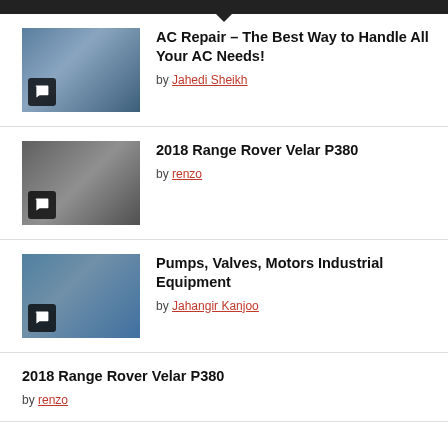AC Repair – The Best Way to Handle All Your AC Needs! by Jahedi Sheikh
2018 Range Rover Velar P380 by renzo
Pumps, Valves, Motors Industrial Equipment by Jahangir Kanjoo
2018 Range Rover Velar P380 by renzo